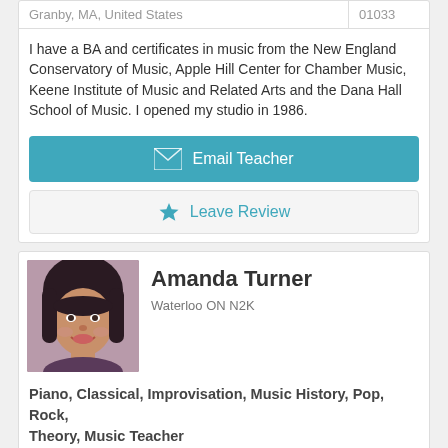| Location | ZIP |
| --- | --- |
| Granby, MA, United States | 01033 |
I have a BA and certificates in music from the New England Conservatory of Music, Apple Hill Center for Chamber Music, Keene Institute of Music and Related Arts and the Dana Hall School of Music. I opened my studio in 1986.
Email Teacher
Leave Review
Amanda Turner
Waterloo ON N2K
[Figure (photo): Profile photo of Amanda Turner, a woman with dark hair and bangs, smiling.]
Piano, Classical, Improvisation, Music History, Pop, Rock, Theory, Music Teacher
| Location | ZIP |
| --- | --- |
| Waterloo, ON, Canada | N2K |
I have been teaching piano full time since 2002. I teach any level & age with a fun, logical approach and help students build